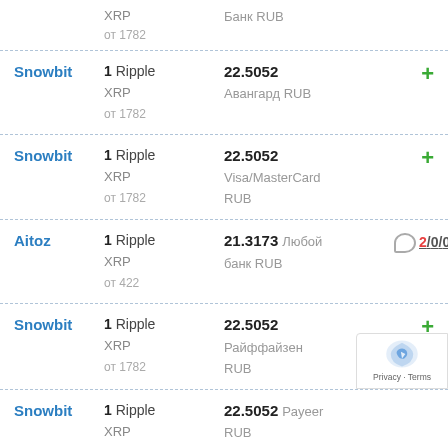| Exchanger | From | Rate / To | Action |
| --- | --- | --- | --- |
|  | XRP | Банк RUB |  |
|  | от 1782 |  |  |
| Snowbit | 1 Ripple XRP / от 1782 | 22.5052 Авангард RUB | + |
| Snowbit | 1 Ripple XRP / от 1782 | 22.5052 Visa/MasterCard RUB | + |
| Aitoz | 1 Ripple XRP / от 422 | 21.3173 Любой банк RUB | 2/0/0 |
| Snowbit | 1 Ripple XRP / от 1782 | 22.5052 Райффайзен RUB | + |
| Snowbit | 1 Ripple XRP | 22.5052 Payeer RUB | + |